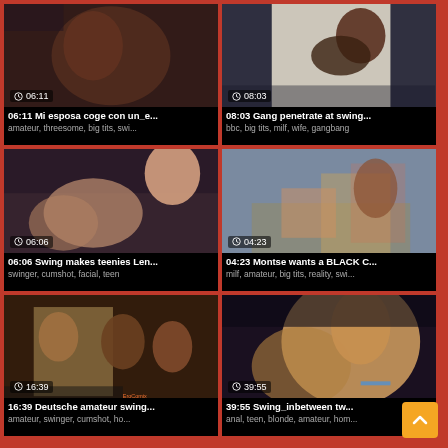[Figure (screenshot): Video thumbnail grid showing 6 adult video thumbnails with titles and tags]
06:11 Mi esposa coge con un_e...
amateur, threesome, big tits, swi...
08:03 Gang penetrate at swing...
bbc, big tits, milf, wife, gangbang
06:06 Swing makes teenies Len...
swinger, cumshot, facial, teen
04:23 Montse wants a BLACK C...
milf, amateur, big tits, reality, swi...
16:39 Deutsche amateur swing...
amateur, swinger, cumshot, ho...
39:55 Swing_inbetween tw...
anal, teen, blonde, amateur, hom...